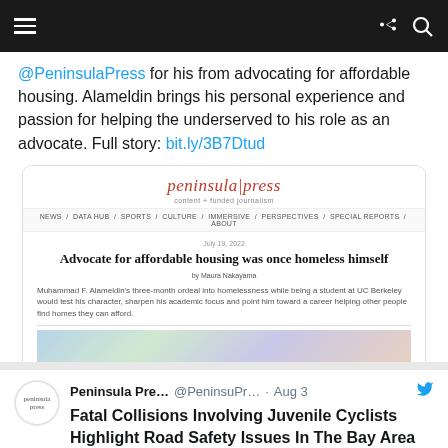Navigation bar with menu, share and search icons
@PeninsulaPress for his from advocating for affordable housing. Alameldin brings his personal experience and passion for helping the underserved to his role as an advocate. Full story: bit.ly/3B7Dtud
[Figure (screenshot): Screenshot of Peninsula Press article page showing headline 'Advocate for affordable housing was once homeless himself' by Maura Nakayama, with article summary and partial image]
Peninsula Pre... @PeninsuPr... · Aug 3 Fatal Collisions Involving Juvenile Cyclists Highlight Road Safety Issues In The Bay Area